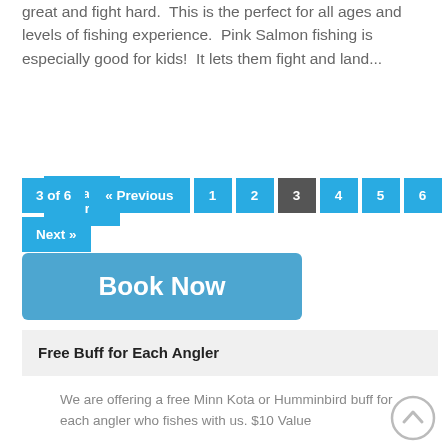great and fight hard.  This is the perfect for all ages and levels of fishing experience.  Pink Salmon fishing is especially good for kids!  It lets them fight and land...
Read More
3 of 6  « Previous  1  2  3  4  5  6  Next »
Book Now
Free Buff for Each Angler
We are offering a free Minn Kota or Humminbird buff for each angler who fishes with us. $10 Value